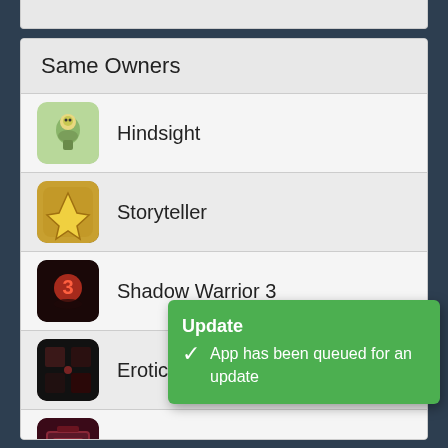Same Owners
Hindsight
Storyteller
Shadow Warrior 3
Erotic Jigsaw Puzzle 2
Inscryption
See top 100
Links
Update
App has been queued for an update